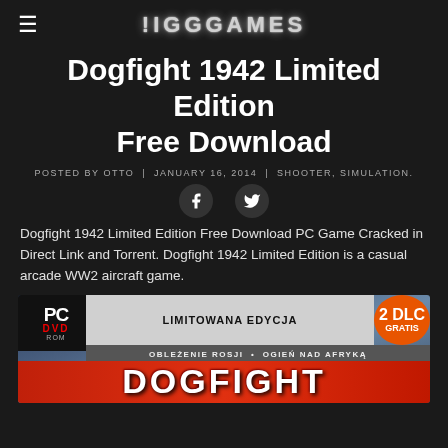!IGGGAMES
Dogfight 1942 Limited Edition Free Download
POSTED BY OTTO | JANUARY 16, 2014 | SHOOTER, SIMULATION.
[Figure (illustration): Social media icons: Facebook and Twitter]
Dogfight 1942 Limited Edition Free Download PC Game Cracked in Direct Link and Torrent. Dogfight 1942 Limited Edition is a casual arcade WW2 aircraft game.
[Figure (photo): Dogfight 1942 Limited Edition PC DVD game box art showing 'LIMITOWANA EDYCJA' header, '2 DLC GRATIS' badge, 'OBLEZENIE ROSJI • OGIEN NAD AFRYKA' subtitle, and large red DOGFIGHT logo with aircraft imagery]